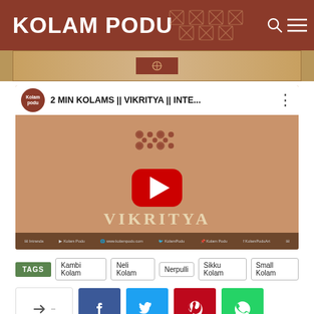KOLAM PODU
[Figure (screenshot): Top strip showing partial kolam image]
[Figure (screenshot): YouTube video thumbnail for '2 MIN KOLAMS || VIKRITYA || INTE...' with play button and VIKRITYA text, from Kolam Podu channel]
TAGS  Kambi Kolam  Neli Kolam  Nerpulli  Sikku Kolam  Small Kolam
[Figure (screenshot): Social share buttons row: share box with arrow icon, Facebook, Twitter, Pinterest, WhatsApp]